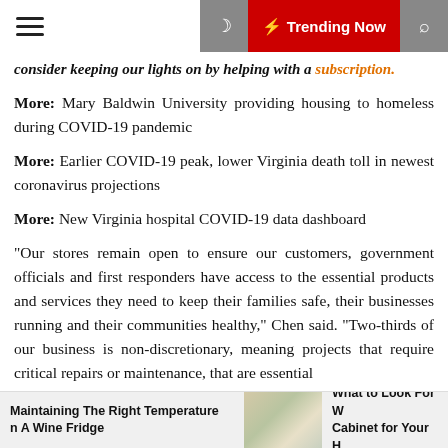☰ [moon] ⚡ Trending Now [search]
consider keeping our lights on by helping with a subscription.
More: Mary Baldwin University providing housing to homeless during COVID-19 pandemic
More: Earlier COVID-19 peak, lower Virginia death toll in newest coronavirus projections
More: New Virginia hospital COVID-19 data dashboard
“Our stores remain open to ensure our customers, government officials and first responders have access to the essential products and services they need to keep their families safe, their businesses running and their communities healthy,” Chen said. “Two-thirds of our business is non-discretionary, meaning projects that require critical repairs or maintenance, that are essential
Maintaining The Right Temperature In A Wine Fridge | What to Look For W... Cabinet for Your H...